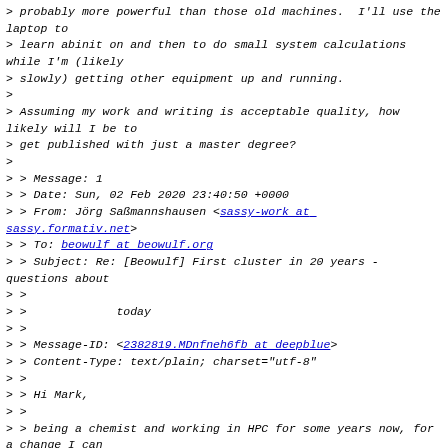> probably more powerful than those old machines. I'll use the laptop to
> learn abinit on and then to do small system calculations while I'm (likely
> slowly) getting other equipment up and running.
>
> Assuming my work and writing is acceptable quality, how likely will I be to
> get published with just a master degree?
>
> > Message: 1
> > Date: Sun, 02 Feb 2020 23:40:50 +0000
> > From: Jörg Saßmannshausen <sassy-work at sassy.formativ.net>
> > To: beowulf at beowulf.org
> > Subject: Re: [Beowulf] First cluster in 20 years - questions about
> >
> >             today
> >
> > Message-ID: <2382819.MDnfneh6fb at deepblue>
> > Content-Type: text/plain; charset="utf-8"
> >
> > Hi Mark,
> >
> > being a chemist and working in HPC for some years now, for a change I can
> > make
> > some contribution to the list as well.
> >
> > From: blah blah blah blah blah blah blah blah blah E